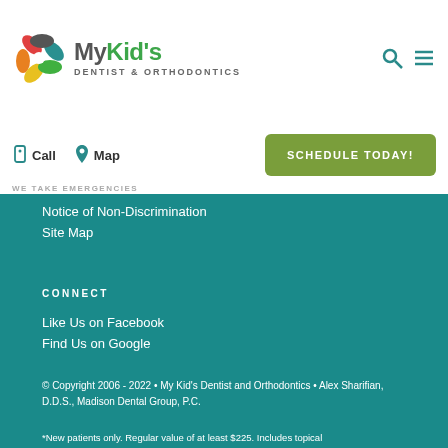MyKid's DENTIST & ORTHODONTICS
Call  Map  WE TAKE EMERGENCIES  SCHEDULE TODAY!
Notice of Non-Discrimination
Site Map
CONNECT
Like Us on Facebook
Find Us on Google
© Copyright 2006 - 2022 • My Kid's Dentist and Orthodontics • Alex Sharifian, D.D.S., Madison Dental Group, P.C.
*New patients only. Regular value of at least $225. Includes topical